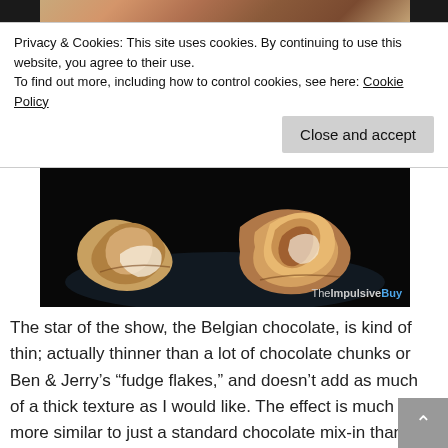[Figure (photo): Close-up photo of Belgian chocolate pieces on dark background, showing texture of thin chocolate flakes, with TheImpulsiveBuy watermark]
Privacy & Cookies: This site uses cookies. By continuing to use this website, you agree to their use.
To find out more, including how to control cookies, see here: Cookie Policy
Close and accept
The star of the show, the Belgian chocolate, is kind of thin; actually thinner than a lot of chocolate chunks or Ben & Jerry’s “fudge flakes,” and doesn’t add as much of a thick texture as I would like. The effect is much more similar to just a standard chocolate mix-in than a thick layer of chocolate, and in that regard the taste is much less impressive than the visual.